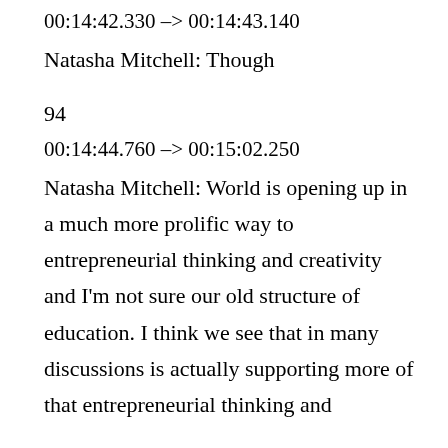00:14:42.330 –> 00:14:43.140
Natasha Mitchell: Though
94
00:14:44.760 –> 00:15:02.250
Natasha Mitchell: World is opening up in a much more prolific way to entrepreneurial thinking and creativity and I'm not sure our old structure of education. I think we see that in many discussions is actually supporting more of that entrepreneurial thinking and